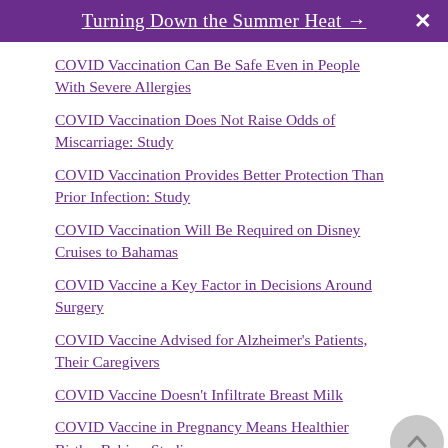Turning Down the Summer Heat →
COVID Vaccination Can Be Safe Even in People With Severe Allergies
COVID Vaccination Does Not Raise Odds of Miscarriage: Study
COVID Vaccination Provides Better Protection Than Prior Infection: Study
COVID Vaccination Will Be Required on Disney Cruises to Bahamas
COVID Vaccine a Key Factor in Decisions Around Surgery
COVID Vaccine Advised for Alzheimer's Patients, Their Caregivers
COVID Vaccine Doesn't Infiltrate Breast Milk
COVID Vaccine in Pregnancy Means Healthier Births, Babies: Studies